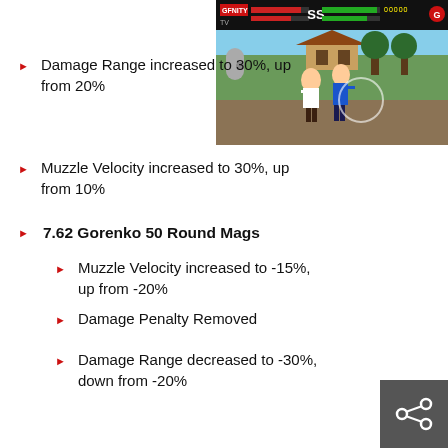[Figure (screenshot): Video game screenshot showing fighting game (Mortal Kombat style) with HUD bar at top showing health bars, score, and two fighters in combat on a courtyard stage.]
Damage Range increased to 30%, up from 20%
Muzzle Velocity increased to 30%, up from 10%
7.62 Gorenko 50 Round Mags
Muzzle Velocity increased to -15%, up from -20%
Damage Penalty Removed
Damage Range decreased to -30%, down from -20%